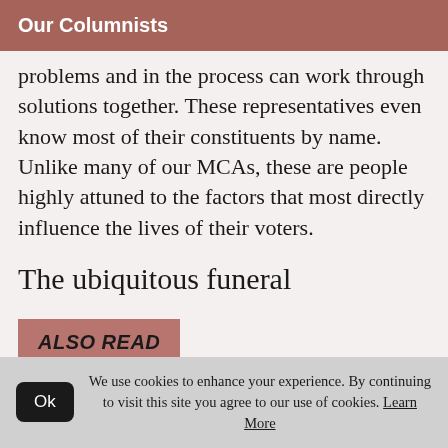Our Columnists
problems and in the process can work through solutions together. These representatives even know most of their constituents by name. Unlike many of our MCAs, these are people highly attuned to the factors that most directly influence the lives of their voters.
The ubiquitous funeral
ALSO READ
We use cookies to enhance your experience. By continuing to visit this site you agree to our use of cookies. Learn More